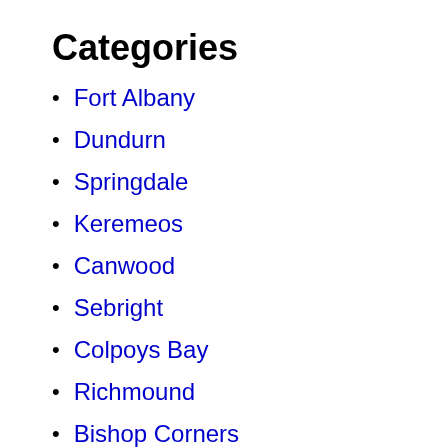Categories
Fort Albany
Dundurn
Springdale
Keremeos
Canwood
Sebright
Colpoys Bay
Richmound
Bishop Corners
Abernethy